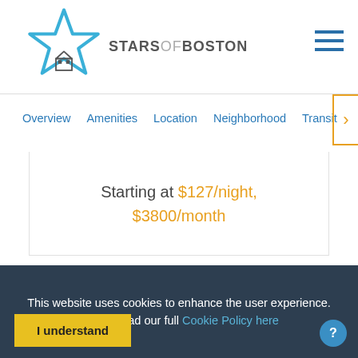[Figure (logo): Stars of Boston logo with blue star outline and house icon below, with brand name STARSOFBOSTON in mixed grey/light grey text]
Overview  Amenities  Location  Neighborhood  Transit
Starting at $127/night, $3800/month
This website uses cookies to enhance the user experience. Please read our full Cookie Policy here
I understand